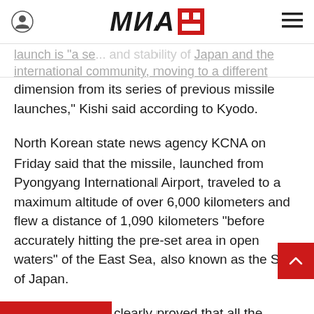МИА
launch is "a se... and stability of Japan and the international community, moving to a different dimension from its series of previous missile launches," Kishi said according to Kyodo.
North Korean state news agency KCNA on Friday said that the missile, launched from Pyongyang International Airport, traveled to a maximum altitude of over 6,000 kilometers and flew a distance of 1,090 kilometers “before accurately hitting the pre-set area in open waters” of the East Sea, also known as the Sea of Japan.
“The test-launch clearly proved that all the parameters of the weapon system exactly met the design requirements,” KCNA said.